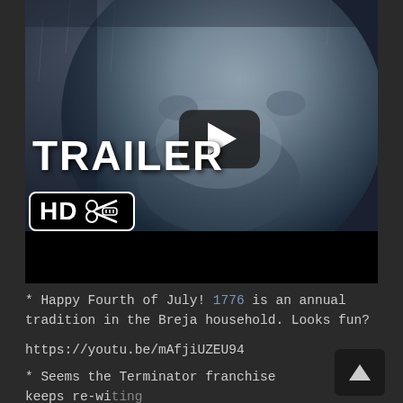[Figure (screenshot): Video thumbnail showing a man's face in close-up with a play button overlay. Text 'TRAILER' in large white bold letters and an 'HD' badge with scissors icon in lower left. Dark black bar at bottom of video player.]
* Happy Fourth of July! 1776 is an annual tradition in the Breja household. Looks fun?
https://youtu.be/mAfjiUZEU94
* Seems the Terminator franchise keeps re-writing itself with this latest entry: Terminator: Genisus